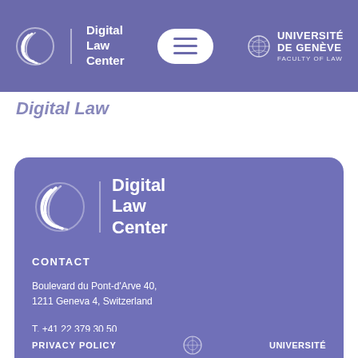[Figure (logo): Digital Law Center header with logo left, hamburger menu center, Université de Genève logo right on purple background]
Digital Law
[Figure (logo): Digital Law Center footer card with logo, contact information, address, phone and email]
CONTACT
Boulevard du Pont-d'Arve 40,
1211 Geneva 4, Switzerland
T. +41 22 379 30 50
digitallawcenter@unige.ch
PRIVACY POLICY